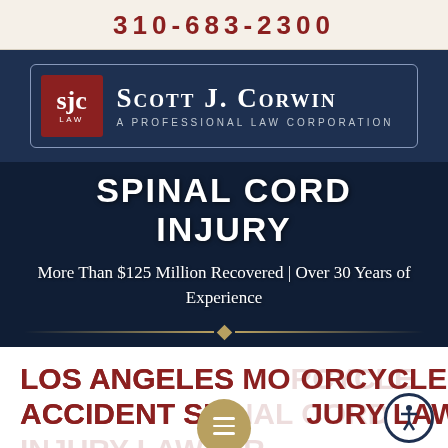310-683-2300
[Figure (logo): Scott J. Corwin A Professional Law Corporation logo with SJC LAW initials on dark red background, white border outline on dark navy background]
SPINAL CORD INJURY
More Than $125 Million Recovered | Over 30 Years of Experience
LOS ANGELES MOTORCYCLE ACCIDENT SPINAL CORD INJURY LAWYER